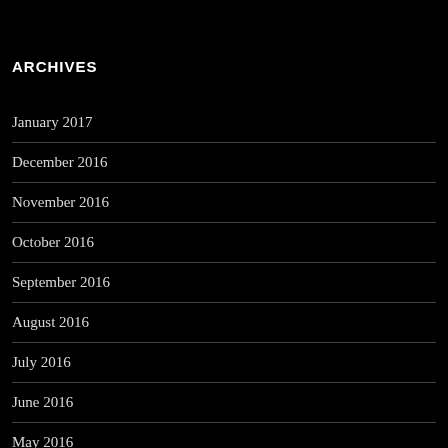ARCHIVES
January 2017
December 2016
November 2016
October 2016
September 2016
August 2016
July 2016
June 2016
May 2016
April 2016